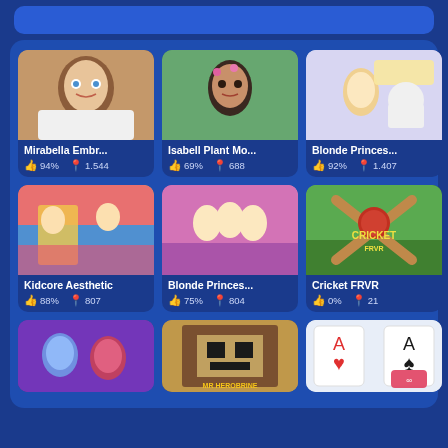[Figure (screenshot): Game grid page showing 9 game cards in a 3-column layout on a blue background]
Mirabella Embr...
94% 1.544
Isabell Plant Mo...
69% 688
Blonde Princes...
92% 1.407
Kidcore Aesthetic
88% 807
Blonde Princes...
75% 804
Cricket FRVR
0% 21